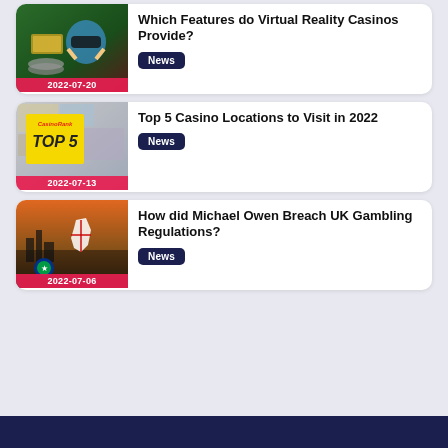[Figure (photo): Woman with VR headset and casino chips/money, green background]
Which Features do Virtual Reality Casinos Provide?
News
2022-07-20
[Figure (photo): CasinoRank Top 5 card on travel photos background]
Top 5 Casino Locations to Visit in 2022
News
2022-07-13
[Figure (photo): UK map silhouette with flags and city skyline background]
How did Michael Owen Breach UK Gambling Regulations?
News
2022-07-06